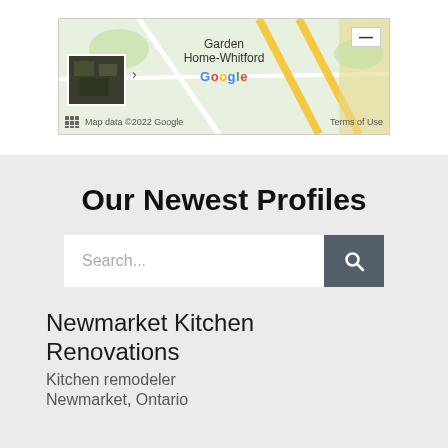[Figure (screenshot): Google Maps screenshot showing Garden Home-Whitford area with satellite thumbnail, Google branding, map data copyright 2022 Google, Terms of Use, grid icon, and minus zoom button]
Our Newest Profiles
Search...
Newmarket Kitchen Renovations
Kitchen remodeler
Newmarket, Ontario